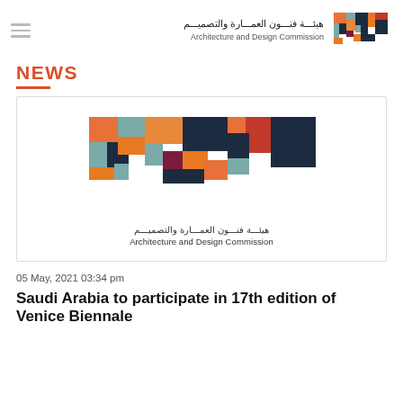هيئـــة فنـــون العمـــارة والتصميـــم — Architecture and Design Commission
NEWS
[Figure (logo): Architecture and Design Commission logo — colorful geometric mosaic pattern with Arabic and English name below]
05 May, 2021 03:34 pm
Saudi Arabia to participate in 17th edition of Venice Biennale